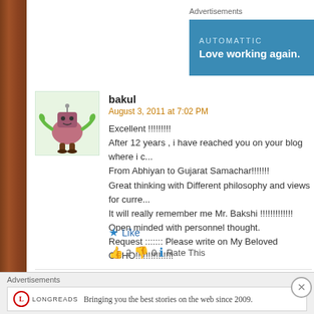Advertisements
[Figure (screenshot): Automattic advertisement banner with blue background. Text: AUTOMATTIC / Love working again.]
[Figure (illustration): Cartoon avatar for user 'bakul': strange alien-like creature with pink oval body, green arms, robot head antenna, standing on brown legs against pale green background.]
bakul
August 3, 2011 at 7:02 PM
Excellent !!!!!!!!!
After 12 years , i have reached you on your blog where i c...
From Abhiyan to Gujarat Samachar!!!!!!!
Great thinking with Different philosophy and views for curre...
It will really remember me Mr. Bakshi !!!!!!!!!!!!!
Open minded with personnel thought.
Request ::::::: Please write on My Beloved OSHO!!!!!!!!!!!!!
★ Like
👍 2  👎 0  ℹ Rate This
[Figure (illustration): Cartoon avatar for user 'Gaurang Patadia': stylized blue character with wild hair, wearing a hat, against light purple background.]
Gaurang Patadia
August 8, 2011 at 2:20 PM
Advertisements
[Figure (screenshot): Longreads advertisement: Red circle L logo, LONGREADS text, 'Bringing you the best stories on the web since 2009.']